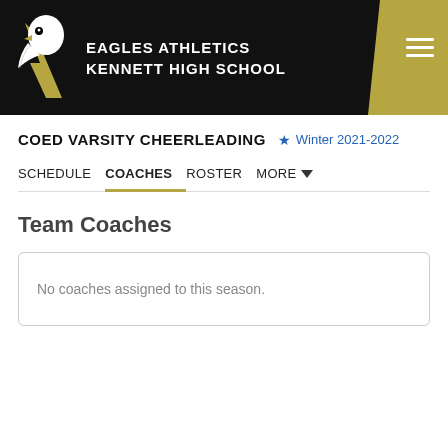Eagles Athletics — Kennett High School
COED VARSITY CHEERLEADING — Winter 2021-2022
SCHEDULE  COACHES  ROSTER  MORE
Team Coaches
No coaches assigned to this season.